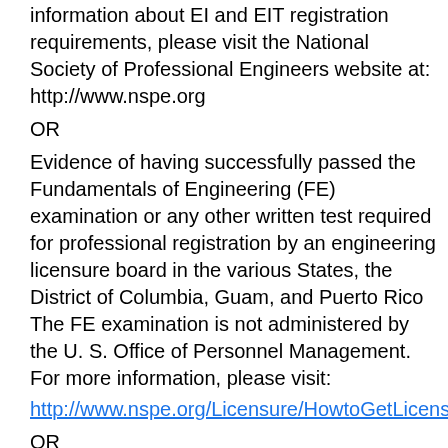information about EI and EIT registration requirements, please visit the National Society of Professional Engineers website at: http://www.nspe.org
OR
Evidence of having successfully passed the Fundamentals of Engineering (FE) examination or any other written test required for professional registration by an engineering licensure board in the various States, the District of Columbia, Guam, and Puerto Rico The FE examination is not administered by the U. S. Office of Personnel Management. For more information, please visit:
http://www.nspe.org/Licensure/HowtoGetLicensed/index.ht
OR
Successful completion of at least 60 semester hours of courses in the physical, mathematical, and engineering sciences and in engineering that included the courses specified in the basic requirements under paragraph A